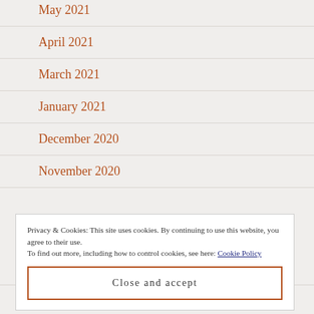May 2021
April 2021
March 2021
January 2021
December 2020
November 2020
Privacy & Cookies: This site uses cookies. By continuing to use this website, you agree to their use.
To find out more, including how to control cookies, see here: Cookie Policy
Close and accept
August 2020